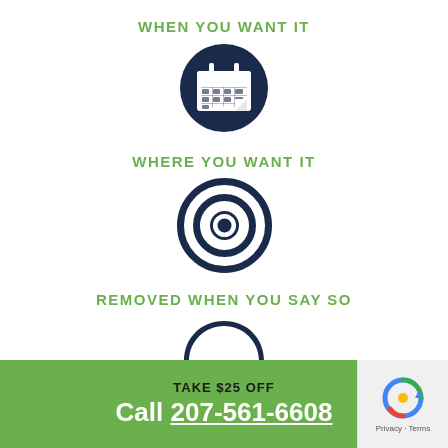WHEN YOU WANT IT
[Figure (illustration): Dark navy circle icon with a calendar graphic inside]
WHERE YOU WANT IT
[Figure (illustration): Dark navy concentric circles target/location icon]
REMOVED WHEN YOU SAY SO
[Figure (illustration): Dark navy phone/headset icon, partially cropped at bottom]
TAKE $25 OFF
Call 207-561-6608